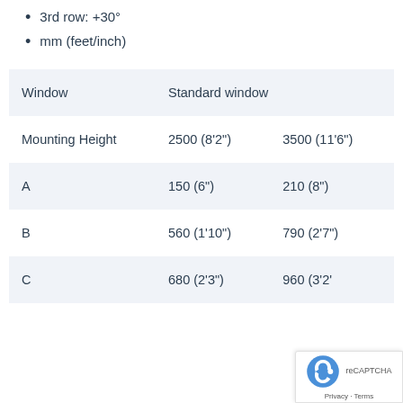3rd row: +30°
mm (feet/inch)
|  | Standard window |  |
| --- | --- | --- |
| Window | Standard window |  |
| Mounting Height | 2500 (8'2") | 3500 (11'6") |
| A | 150 (6") | 210 (8") |
| B | 560 (1'10") | 790 (2'7") |
| C | 680 (2'3") | 960 (3'2' |